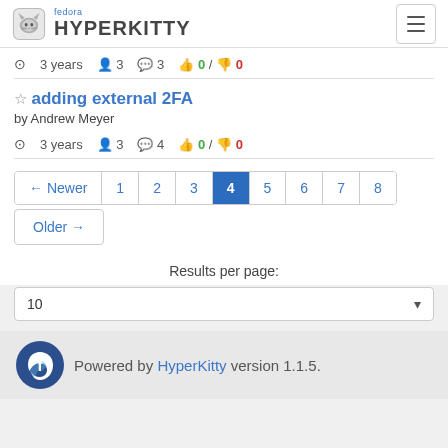fedora HYPERKITTY
3 years  3  3  0 / 0
adding external 2FA
by Andrew Meyer
3 years  3  4  0 / 0
← Newer  1  2  3  4  5  6  7  8
Older →
Results per page:
10
Powered by HyperKitty version 1.1.5.